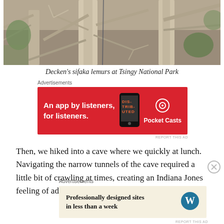[Figure (photo): Photo of bare tree branches and forest at Tsingy National Park, showing pale trunks and tangled branches with hints of green foliage]
Decken's sifaka lemurs at Tsingy National Park
Advertisements
[Figure (other): Advertisement: An app by listeners, for listeners. Pocket Casts — red background with phone image]
Then, we hiked into a cave where we quickly at lunch. Navigating the narrow tunnels of the cave required a little bit of crawling at times, creating an Indiana Jones feeling of adventure.
Advertisements
[Figure (other): Advertisement: Professionally designed sites in less than a week — WordPress logo, light tan background]